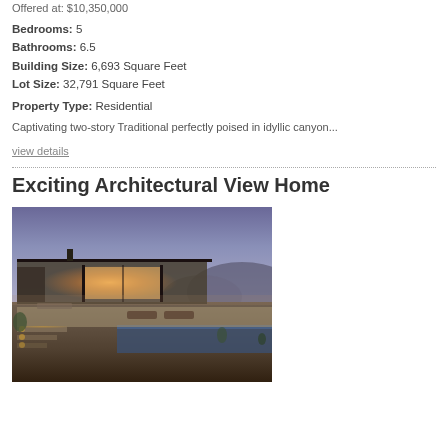Offered at: $10,350,000
Bedrooms: 5
Bathrooms: 6.5
Building Size: 6,693 Square Feet
Lot Size: 32,791 Square Feet
Property Type: Residential
Captivating two-story Traditional perfectly poised in idyllic canyon...
view details
Exciting Architectural View Home
[Figure (photo): Exterior evening photo of a modern one-story architectural home with warm interior lighting glowing through large glass walls, a pool or water feature in the foreground, outdoor lounge furniture, illuminated steps, and a purple-blue twilight sky in the background surrounded by hills.]